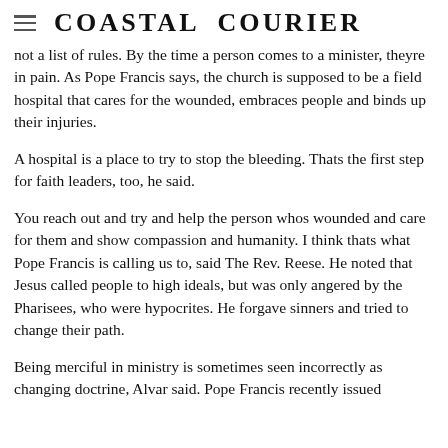Coastal Courier
not a list of rules. By the time a person comes to a minister, theyre in pain. As Pope Francis says, the church is supposed to be a field hospital that cares for the wounded, embraces people and binds up their injuries.
A hospital is a place to try to stop the bleeding. Thats the first step for faith leaders, too, he said.
You reach out and try and help the person whos wounded and care for them and show compassion and humanity. I think thats what Pope Francis is calling us to, said The Rev. Reese. He noted that Jesus called people to high ideals, but was only angered by the Pharisees, who were hypocrites. He forgave sinners and tried to change their path.
Being merciful in ministry is sometimes seen incorrectly as changing doctrine, Alvar said. Pope Francis recently issued